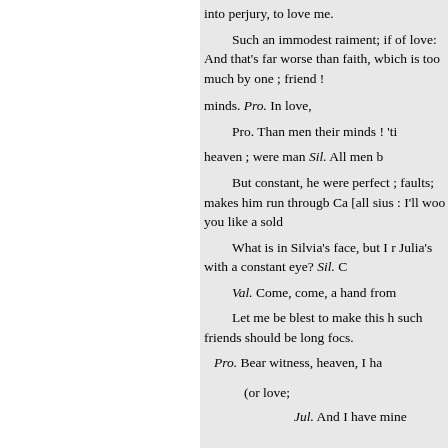into perjury, to love me.
Such an immodest raiment; if of love: And that's far worse than faith, wbich is too much by one ; friend !
minds. Pro. In love,
Pro. Than men their minds ! 'ti
heaven ; were man Sil. All men b
But constant, he were perfect ; faults; makes him run througb Ca [all sius : I'll woo you like a sold
What is in Silvia's face, but I r Julia's with a constant eye? Sil. C
Val. Come, come, a hand from
Let me be blest to make this h such friends should be long focs.
Pro. Bear witness, heaven, I ha
(or love;
Jul. And I have mine